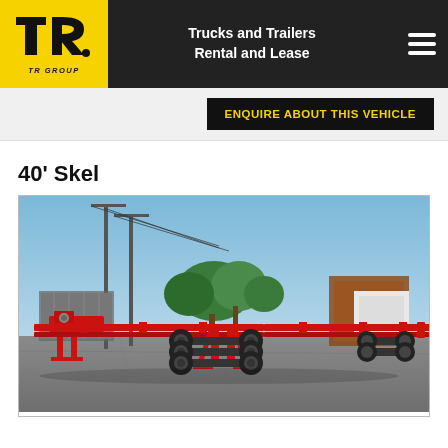[Figure (logo): TR Group logo — stylized TR letters in black on yellow background with TR GROUP text]
Trucks and Trailers Rental and Lease
40' Skel
ENQUIRE ABOUT THIS VEHICLE
[Figure (photo): Red 40-foot skeletal container trailer parked in a yard, blue sky background with trees and power lines visible, red frame trailer with tri-axle configuration]